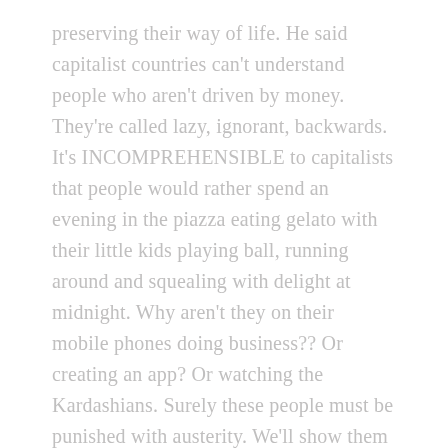preserving their way of life. He said capitalist countries can't understand people who aren't driven by money. They're called lazy, ignorant, backwards. It's INCOMPREHENSIBLE to capitalists that people would rather spend an evening in the piazza eating gelato with their little kids playing ball, running around and squealing with delight at midnight. Why aren't they on their mobile phones doing business?? Or creating an app? Or watching the Kardashians. Surely these people must be punished with austerity. We'll show them what it means to not worship the bloody EURO!!!!
The following day I had tea with one of the loveliest people I ever met in the film business or in any